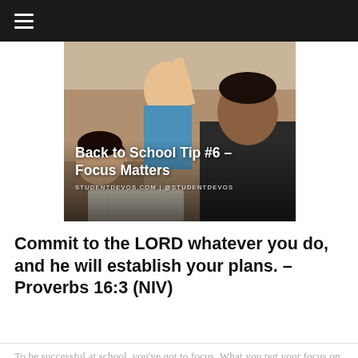≡
[Figure (photo): Students in a classroom, one young man in a black shirt looking at camera while others are studying. Overlay text reads: Back to School Tip #6 – Focus Matters. STUDENTDEVOS.COM | @STUDENTDEVOS]
Commit to the LORD whatever you do, and he will establish your plans. – Proverbs 16:3 (NIV)
To be successful at school, you've got to focus. What you put your focus on makes a